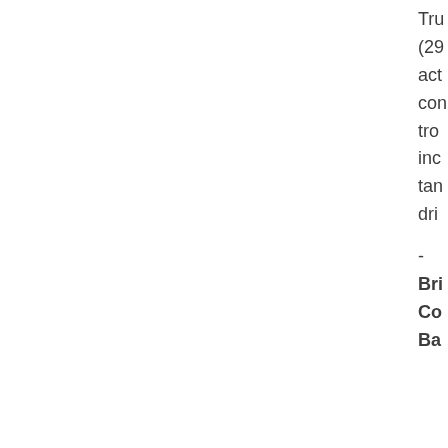Tru (29 act con tro inc tan dri
- Bri Co Ba